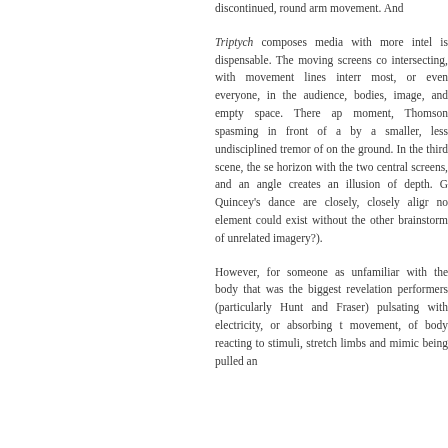discontinued, round arm movement. And...
Triptych composes media with more intel... is dispensable. The moving screens co... intersecting, with movement lines interr... most, or even everyone, in the audience,... bodies, image, and empty space. There ap... moment, Thomson spasming in front of a... by a smaller, less undisciplined tremor of... on the ground. In the third scene, the se... horizon with the two central screens, and... an angle creates an illusion of depth. G... Quincey's dance are closely, closely aligr... no element could exist without the other... brainstorm of unrelated imagery?).
However, for someone as unfamiliar with... the body that was the biggest revelation... performers (particularly Hunt and Fraser)... pulsating with electricity, or absorbing t... movement, of body reacting to stimuli,... stretch limbs and mimic being pulled an...